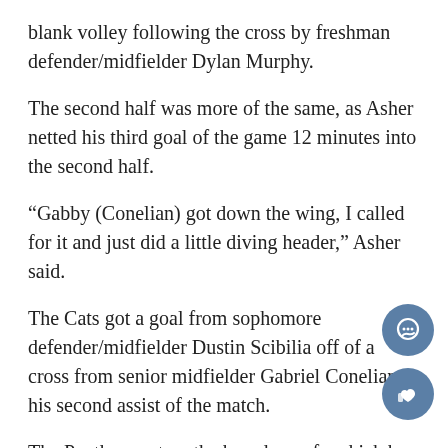blank volley following the cross by freshman defender/midfielder Dylan Murphy.
The second half was more of the same, as Asher netted his third goal of the game 12 minutes into the second half.
“Gabby (Conelian) got down the wing, I called for it and just did a little diving header,” Asher said.
The Cats got a goal from sophomore defender/midfielder Dustin Scibilia off of a cross from senior midfielder Gabriel Conelian, his second assist of the match.
The Panthers got on the board on a free kick by senior Lucas Di Croce. Di Croce curled the ball into the top corner after a careless foul by a UK defender.